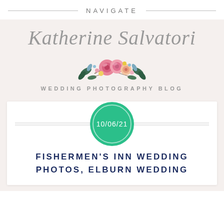NAVIGATE
Katherine Salvatori
[Figure (illustration): Watercolor floral bouquet illustration with pink roses and dark blue-green leaves]
WEDDING PHOTOGRAPHY BLOG
[Figure (infographic): Teal/green circular date badge showing '10/06/21' with double-ring border, overlaid on two horizontal lines]
FISHERMEN'S INN WEDDING PHOTOS, ELBURN WEDDING